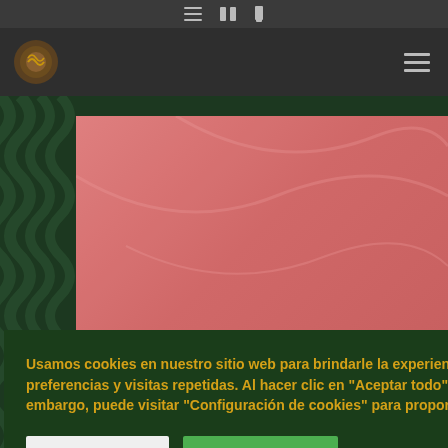Navigation bar with logo and hamburger menu
[Figure (screenshot): Website screenshot with dark green wave-patterned background and salmon/coral hero image area]
Usamos cookies en nuestro sitio web para brindarle la experiencia más relevante recordando sus preferencias y visitas repetidas. Al hacer clic en "Aceptar todo", acepta el uso de TODAS las cookies. Sin embargo, puede visitar "Configuración de cookies" para proporcionar un consentimiento controlado.
Configuración
Aceptar todo